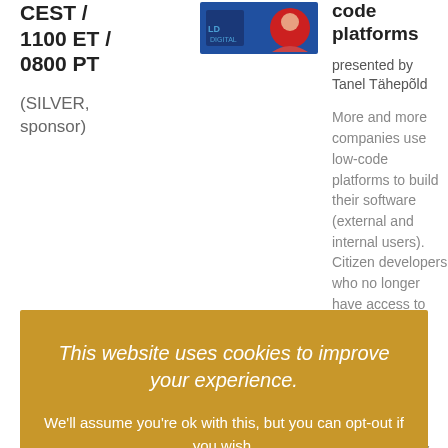CEST / 1100 ET / 0800 PT
[Figure (photo): Blue thumbnail image with a logo and red circle avatar]
code platforms
presented by Tanel Tähepõld
More and more companies use low-code platforms to build their software (external and internal users). Citizen developers who no longer have access to professional developers (advantages) functionality provided they have used. Developers rely on functionality provided
This website uses cookies to improve your experience.
We'll assume you're ok with this, but you can opt-out if you wish.
ACCEPT
Cookie settings
Read More